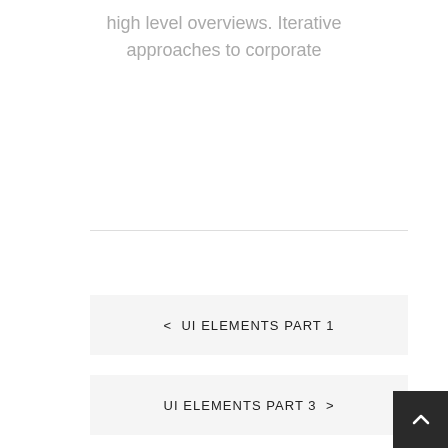high level overviews. Iterative approaches to corporate
< UI ELEMENTS PART 1
UI ELEMENTS PART 3 >